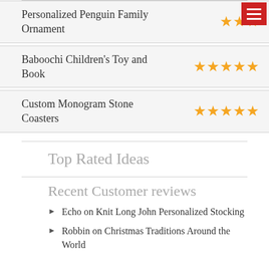Personalized Penguin Family Ornament — 3 stars
Baboochi Children's Toy and Book — 5 stars
Custom Monogram Stone Coasters — 5 stars
Top Rated Ideas
Recent Customer reviews
Echo on Knit Long John Personalized Stocking
Robbin on Christmas Traditions Around the World